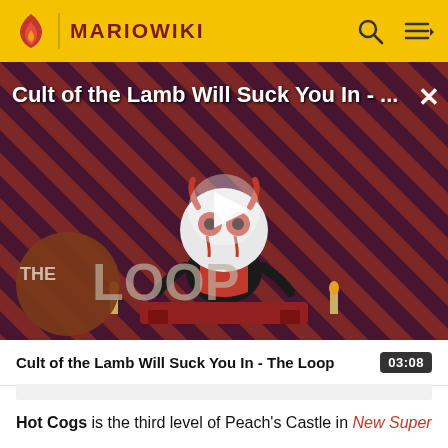MARIOWIKI
[Figure (screenshot): Video thumbnail for 'Cult of the Lamb Will Suck You In - The Loop' showing a cartoon lamb character on a striped red/black background with a play button overlay and 'THE LOOP' text badge. A close (X) button is visible top-right.]
Cult of the Lamb Will Suck You In - The Loop
03:08
Hot Cogs is the third level of Peach's Castle in New Super